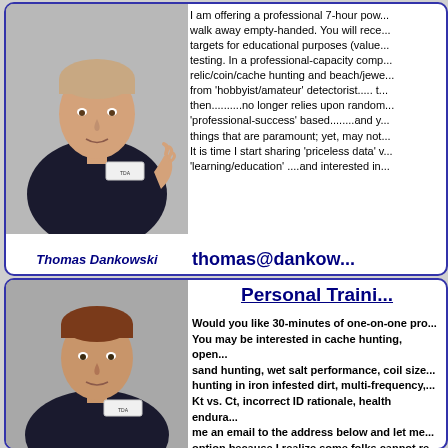[Figure (photo): Thomas Dankowski speaking, wearing dark shirt with name tag, gesturing with hand, light background]
I am offering a professional 7-hour pow... walk away empty-handed. You will rece... targets for educational purposes (value... testing. In a professional-capacity comp... relic/coin/cache hunting and beach/jewe... from 'hobbyist/amateur' detectorist..... t... then..........no longer relies upon random... 'professional-success' based........and y... things that are paramount; yet, may not... It is time I start sharing 'priceless data' v... 'learning/education' ....and interested in...
Thomas Dankowski
thomas@dankow...
Personal Traini...
[Figure (photo): Thomas Dankowski speaking, wearing dark shirt with name tag, cropped view]
Would you like 30-minutes of one-on-one pro... You may be interested in cache hunting, open... sand hunting, wet salt performance, coil size... hunting in iron infested dirt, multi-frequency,... Kt vs. Ct, incorrect ID rationale, health endura... me an email to the address below and let me... option because I realize some folks cannot re... professional training program. This focused t... for a discounted hourly rate. You can pay via h... seasoned veteran.... or maybe you want to pu... its capabilities, our time will be focused on yo... feel much more prepared to go out and hunt i...